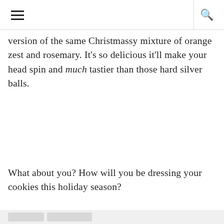☰ 🔍
version of the same Christmassy mixture of orange zest and rosemary. It's so delicious it'll make your head spin and much tastier than those hard silver balls.
What about you? How will you be dressing your cookies this holiday season?